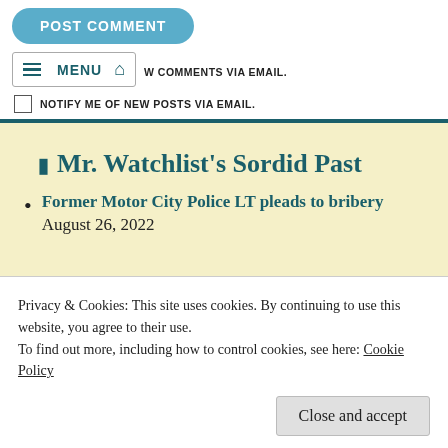POST COMMENT
MENU (home icon) W COMMENTS VIA EMAIL.
NOTIFY ME OF NEW POSTS VIA EMAIL.
Mr. Watchlist's Sordid Past
Former Motor City Police LT pleads to bribery August 26, 2022
Privacy & Cookies: This site uses cookies. By continuing to use this website, you agree to their use.
To find out more, including how to control cookies, see here: Cookie Policy
Close and accept
after more than a decade on the lam August 26, 2022